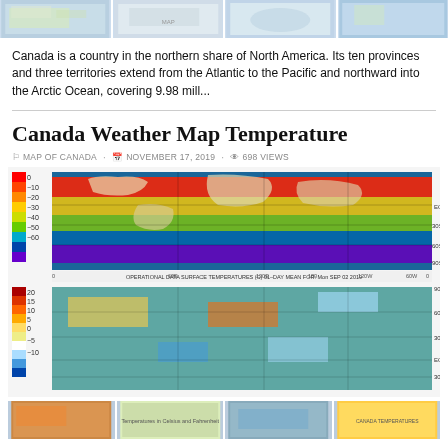[Figure (photo): Row of four thumbnail map images of Canada at top of page]
Canada is a country in the northern share of North America. Its ten provinces and three territories extend from the Atlantic to the Pacific and northward into the Arctic Ocean, covering 9.98 mill...
Canada Weather Map Temperature
MAP OF CANADA · NOVEMBER 17, 2019 · 698 Views
[Figure (map): World surface temperature map showing operational data surface temperatures (C) 01-day mean for Mon Sep 02 2019, with color scale from -60 to 0]
[Figure (map): Second world temperature anomaly map with color scale from -10 to 20, showing latitude bands 90S to 90N]
[Figure (photo): Row of four thumbnail weather map images at the bottom of the page]